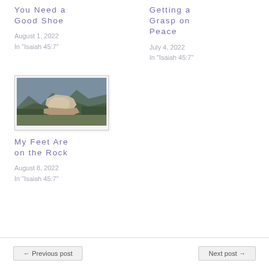You Need a Good Shoe
August 1, 2022
In "Isaiah 45:7"
Getting a Grasp on Peace
July 4, 2022
In "Isaiah 45:7"
[Figure (photo): Photograph of a rocky mountain summit with mountains and forest in background]
My Feet Are on the Rock
August 8, 2022
In "Isaiah 45:7"
← Previous post
Next post →